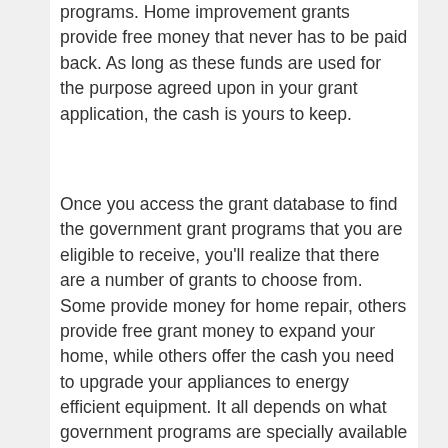programs. Home improvement grants provide free money that never has to be paid back. As long as these funds are used for the purpose agreed upon in your grant application, the cash is yours to keep.
Once you access the grant database to find the government grant programs that you are eligible to receive, you'll realize that there are a number of grants to choose from. Some provide money for home repair, others provide free grant money to expand your home, while others offer the cash you need to upgrade your appliances to energy efficient equipment. It all depends on what government programs are specially available in your community and how much funding is left for you to claim.
When you apply for home improvement grants, you do not have to worry about your credit score, collateral or down payment money. Because these are not loans, the government is not interested in this information. What you will need, however, is the details on your project, an estimate as to how much it will increase the value of